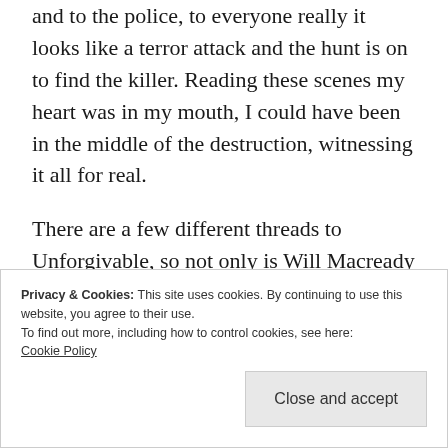and to the police, to everyone really it looks like a terror attack and the hunt is on to find the killer. Reading these scenes my heart was in my mouth, I could have been in the middle of the destruction, witnessing it all for real.
There are a few different threads to Unforgivable, so not only is Will Macready on the hunt for the attacker, he has another case to crack as well...
Privacy & Cookies: This site uses cookies. By continuing to use this website, you agree to their use.
To find out more, including how to control cookies, see here: Cookie Policy